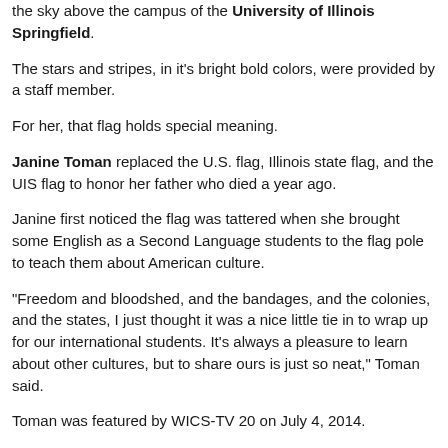the sky above the campus of the University of Illinois Springfield.
The stars and stripes, in it's bright bold colors, were provided by a staff member.
For her, that flag holds special meaning.
Janine Toman replaced the U.S. flag, Illinois state flag, and the UIS flag to honor her father who died a year ago.
Janine first noticed the flag was tattered when she brought some English as a Second Language students to the flag pole to teach them about American culture.
"Freedom and bloodshed, and the bandages, and the colonies, and the states, I just thought it was a nice little tie in to wrap up for our international students. It's always a pleasure to learn about other cultures, but to share ours is just so neat," Toman said.
Toman was featured by WICS-TV 20 on July 4, 2014.